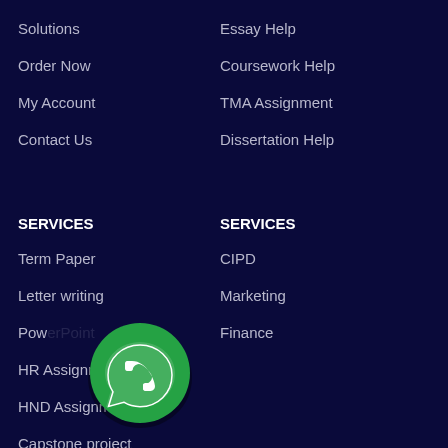Solutions
Essay Help
Order Now
Coursework Help
My Account
TMA Assignment
Contact Us
Dissertation Help
SERVICES
SERVICES
Term Paper
CIPD
Letter writing
Marketing
PowerPoint
Finance
HR Assignment
HND Assignment
Capstone project
[Figure (logo): WhatsApp chat button — green circular icon with white phone handset inside speech bubble]